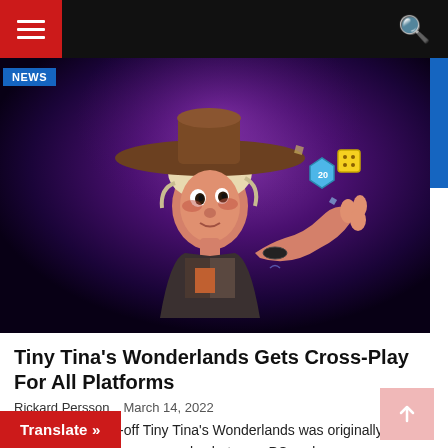Navigation bar with menu and search
[Figure (illustration): Tiny Tina's Wonderlands game character art: animated girl in a wide-brimmed hat with dice floating around her, against a dark purple/violet background. NEWS badge in upper left corner.]
Tiny Tina's Wonderlands Gets Cross-Play For All Platforms
Rickard Persson   March 14, 2022
Borderlands spin-off Tiny Tina's Wonderlands was originally only thought to have cross-play between PC and [the] case with Borderlands 3. However,